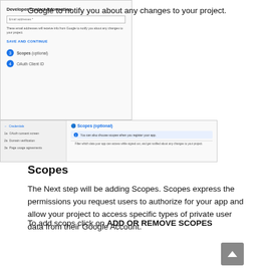Google to notify you about any changes to your project.
[Figure (screenshot): Screenshot showing Google OAuth developer contact information form with email address field, description text, and SAVE AND CONTINUE button, followed by Scopes (optional) and OAuth Client ID steps]
Scopes
The Next step will be adding Scopes. Scopes express the permissions you request users to authorize for your app and allow your project to access specific types of private user data from their Google Account.
To add scops click on ADD OR REMOVE SCOPES
[Figure (screenshot): Screenshot showing Google OAuth consent screen setup with left navigation showing Credentials, OAuth consent screen, Domain verification, Page usage agreements steps, and right panel showing Scopes (optional) section with info notice and table below]